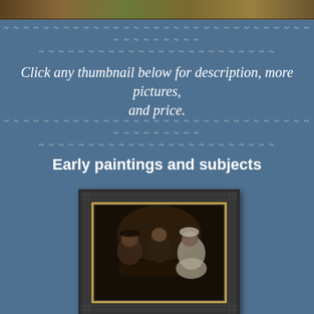[Figure (photo): Top portion of a landscape or outdoor painting in warm brown/green tones]
~ ~ ~ ~ ~ ~ ~ ~ ~ ~ ~ ~ ~ ~ ~ ~ ~ ~ ~ ~ ~ ~ ~ ~ ~ ~ ~ ~ ~ ~ ~ ~ ~ ~ ~ ~ ~ ~ ~ ~
~ ~ ~ ~ ~ ~ ~ ~ ~ ~ ~ ~ ~ ~ ~ ~ ~ ~ ~ ~ ~ ~ ~ ~
Click any thumbnail below for description, more pictures, and price.
~ ~ ~ ~ ~ ~ ~ ~ ~ ~ ~ ~ ~ ~ ~ ~ ~ ~ ~ ~ ~ ~ ~ ~ ~ ~ ~ ~ ~ ~ ~ ~ ~ ~ ~ ~ ~ ~ ~ ~
~ ~ ~ ~ ~ ~ ~ ~ ~ ~ ~ ~ ~ ~ ~ ~ ~ ~ ~ ~ ~ ~ ~ ~
Early paintings and subjects
[Figure (photo): A framed painting depicting three figures (two men and a woman) seated around a table in a dark, old-master style composition. The painting is in a large ornate dark wooden frame with gold inner border.]